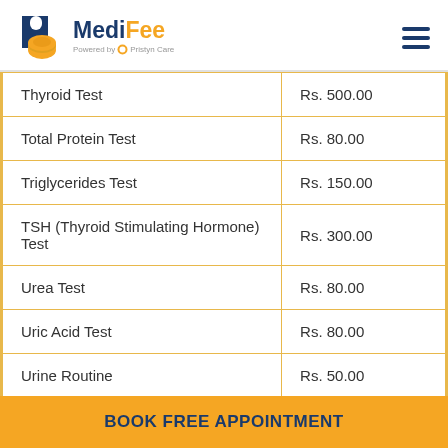MediFee - Powered by Pristyn Care
| Test Name | Price |
| --- | --- |
| Thyroid Test | Rs. 500.00 |
| Total Protein Test | Rs. 80.00 |
| Triglycerides Test | Rs. 150.00 |
| TSH (Thyroid Stimulating Hormone) Test | Rs. 300.00 |
| Urea Test | Rs. 80.00 |
| Uric Acid Test | Rs. 80.00 |
| Urine Routine | Rs. 50.00 |
| VDRL Test | Rs. 60.00 |
BOOK FREE APPOINTMENT